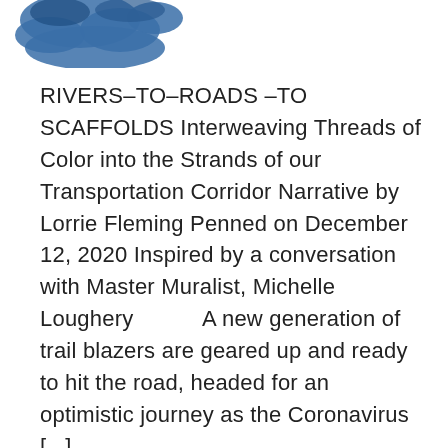[Figure (illustration): Partial blue cloud or bird-like illustration in the top-left corner, cropped at the page edge]
RIVERS–TO–ROADS –TO SCAFFOLDS Interweaving Threads of Color into the Strands of our Transportation Corridor Narrative by Lorrie Fleming Penned on December 12, 2020 Inspired by a conversation with Master Muralist, Michelle Loughery         A new generation of trail blazers are geared up and ready to hit the road, headed for an optimistic journey as the Coronavirus [...]